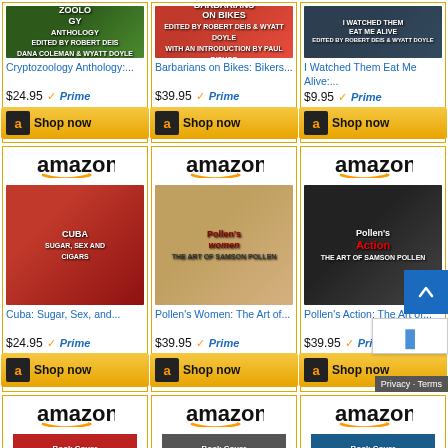[Figure (screenshot): Amazon product grid showing book listings with prices, Prime badges, and Shop now buttons. Top row (partial): Cryptozoology Anthology $24.95, Barbarians on Bikes: Bikers... $39.95, I Watched Them Eat Me Alive:... $9.95. Middle row: Cuba: Sugar, Sex, and... $24.95, Pollen's Women: The Art of... $39.95, Pollen's Action: The Art of... $39.95. Bottom row (partial): three more Amazon product cards partially visible. Scroll-to-top button and reCAPTCHA badge visible on right edge.]